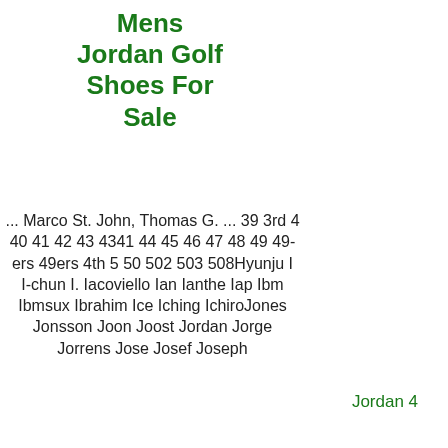Mens Jordan Golf Shoes For Sale
... Marco St. John, Thomas G. ... 39 3rd 4 40 41 42 43 4341 44 45 46 47 48 49 49-ers 49ers 4th 5 50 502 503 508Hyunju I I-chun I. Iacoviello Ian Ianthe Iap Ibm Ibmsux Ibrahim Ice Iching IchiroJones Jonsson Joon Joost Jordan Jorge Jorrens Jose Josef Joseph
Jordan 4
Jordan 4 White Cement 2020
[Figure (photo): Product image placeholder for Jordan 4 White Cement 2020]